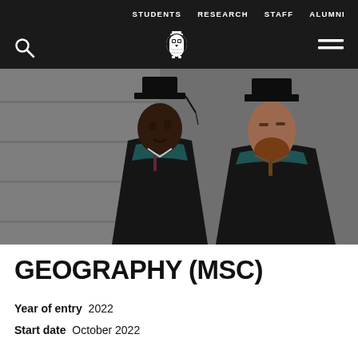STUDENTS  RESEARCH  STAFF  ALUMNI
[Figure (logo): University owl logo in white on dark background, with search icon on left and hamburger menu on right]
[Figure (photo): Two male graduates in black academic gowns and mortarboard caps looking downward, smiling, with teal/blue trim on gowns]
GEOGRAPHY (MSC)
Year of entry  2022
Start date  October 2022